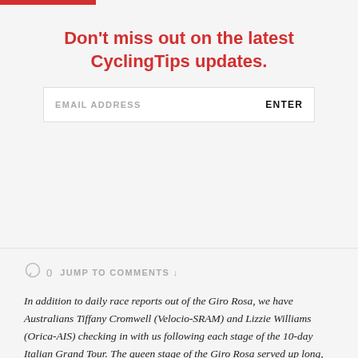Don't miss out on the latest CyclingTips updates.
EMAIL ADDRESS   ENTER
0   JUMP TO COMMENTS ↓
In addition to daily race reports out of the Giro Rosa, we have Australians Tiffany Cromwell (Velocio-SRAM) and Lizzie Williams (Orica-AIS) checking in with us following each stage of the 10-day Italian Grand Tour. The queen stage of the Giro Rosa served up long, steep climbs and winding, technical descents. Cromwell suffered up the mountains, revelled in the downhills and describes it all for you here. All text and images supplied by Cromwell.
Beyond these daily diaries, Cromwell is also responsible for